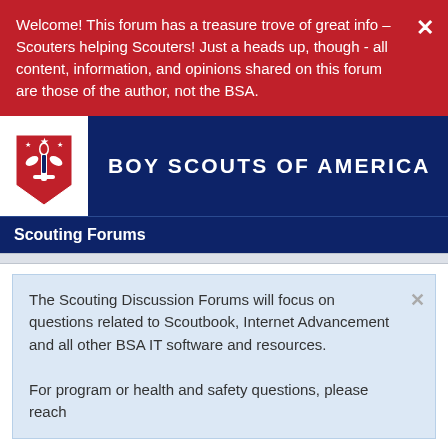Welcome! This forum has a treasure trove of great info – Scouters helping Scouters! Just a heads up, though - all content, information, and opinions shared on this forum are those of the author, not the BSA.
BOY SCOUTS OF AMERICA
Scouting Forums
The Scouting Discussion Forums will focus on questions related to Scoutbook, Internet Advancement and all other BSA IT software and resources.

For program or health and safety questions, please reach
Den Leader and Advancement chair connections not established for new scouts